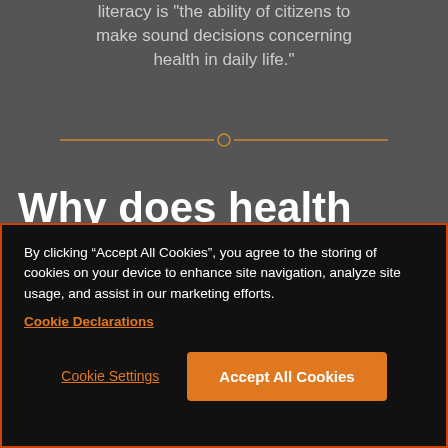literacy is "the ability of citizens to make sound decisions concerning health in daily life."
[Figure (other): Orange horizontal divider line with a small circle in the center]
Why does health literacy matter?
By clicking “Accept All Cookies”, you agree to the storing of cookies on your device to enhance site navigation, analyze site usage, and assist in our marketing efforts.
Cookie Declarations
Cookie Settings
Accept All Cookies